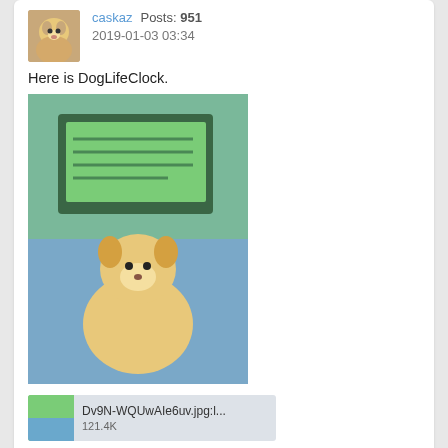[Figure (photo): Forum post card 1: avatar of shiba inu dog, username caskaz, Posts: 951, date 2019-01-03 03:34, text 'Here is DogLifeClock.', image of a device with green LCD screen above a white dog, and an attachment bar showing Dv9N-WQUwAIe6uv.jpg:l... 121.4K]
[Figure (photo): Forum post card 2: avatar of shiba inu dog, username caskaz, Posts: 951, date 2019-05-24 02:59, text 'Tried making "Levitating WaterDrop". But not clear waterdrop yet.']